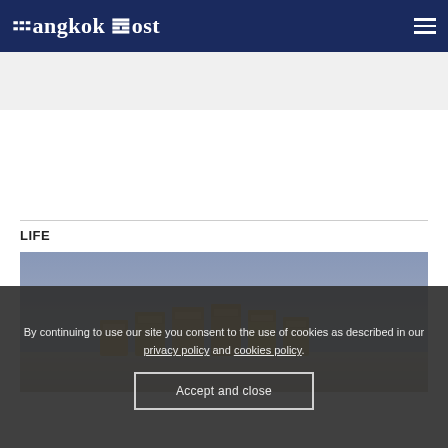Bangkok Post
[Figure (photo): Bangkok Post newspaper logo/wordmark in white on dark navy background, with hamburger menu icon on the right]
[Figure (other): Gray advertisement banner placeholder area]
LIFE
[Figure (photo): Photo showing several small yellow/gold product boxes arranged in a row against a gray-blue background]
By continuing to use our site you consent to the use of cookies as described in our privacy policy and cookies policy.
Accept and close